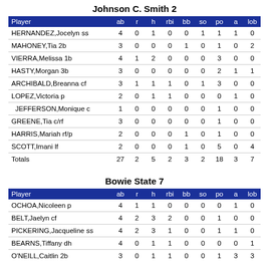Johnson C. Smith 2
| Player | ab | r | h | rbi | bb | so | po | a | lob |
| --- | --- | --- | --- | --- | --- | --- | --- | --- | --- |
| HERNANDEZ,Jocelyn ss | 4 | 0 | 1 | 0 | 0 | 1 | 1 | 1 | 0 |
| MAHONEY,Tia 2b | 3 | 0 | 0 | 0 | 1 | 0 | 1 | 0 | 2 |
| VIERRA,Melissa 1b | 4 | 1 | 2 | 0 | 0 | 0 | 3 | 0 | 0 |
| HASTY,Morgan 3b | 3 | 0 | 0 | 0 | 0 | 0 | 2 | 1 | 1 |
| ARCHIBALD,Breanna cf | 3 | 1 | 1 | 1 | 0 | 1 | 3 | 0 | 0 |
| LOPEZ,Victoria p | 2 | 0 | 1 | 1 | 0 | 0 | 0 | 1 | 0 |
|   JEFFERSON,Monique c | 1 | 0 | 0 | 0 | 0 | 0 | 1 | 0 | 0 |
| GREENE,Tia c/rf | 3 | 0 | 0 | 0 | 0 | 0 | 1 | 0 | 0 |
| HARRIS,Mariah rf/p | 2 | 0 | 0 | 0 | 1 | 0 | 1 | 0 | 0 |
| SCOTT,Imani lf | 2 | 0 | 0 | 0 | 1 | 0 | 5 | 0 | 4 |
| Totals | 27 | 2 | 5 | 2 | 3 | 2 | 18 | 3 | 7 |
Bowie State 7
| Player | ab | r | h | rbi | bb | so | po | a | lob |
| --- | --- | --- | --- | --- | --- | --- | --- | --- | --- |
| OCHOA,Nicoleen p | 4 | 1 | 1 | 0 | 0 | 0 | 0 | 1 | 0 |
| BELT,Jaelyn cf | 4 | 2 | 3 | 2 | 0 | 0 | 1 | 0 | 0 |
| PICKERING,Jacqueline ss | 4 | 2 | 3 | 1 | 0 | 0 | 1 | 1 | 0 |
| BEARNS,Tiffany dh | 4 | 0 | 1 | 1 | 0 | 0 | 0 | 0 | 1 |
| O'NEILL,Caitlin 2b | 3 | 0 | 1 | 1 | 0 | 0 | 1 | 3 | 3 |